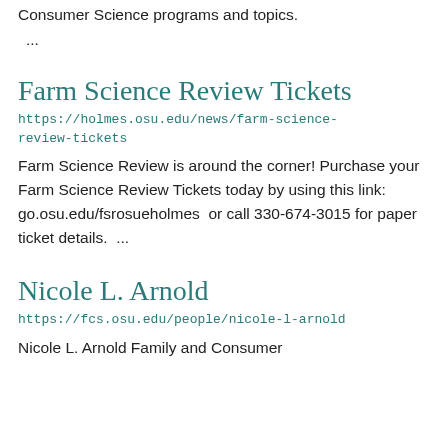Consumer Science programs and topics.
...
Farm Science Review Tickets
https://holmes.osu.edu/news/farm-science-review-tickets
Farm Science Review is around the corner! Purchase your Farm Science Review Tickets today by using this link: go.osu.edu/fsrosueholmes  or call 330-674-3015 for paper ticket details.  ...
Nicole L. Arnold
https://fcs.osu.edu/people/nicole-l-arnold
Nicole L. Arnold Family and Consumer